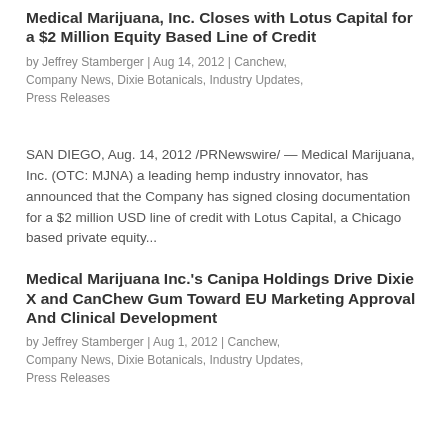Medical Marijuana, Inc. Closes with Lotus Capital for a $2 Million Equity Based Line of Credit
by Jeffrey Stamberger | Aug 14, 2012 | Canchew, Company News, Dixie Botanicals, Industry Updates, Press Releases
SAN DIEGO, Aug. 14, 2012 /PRNewswire/ — Medical Marijuana, Inc. (OTC: MJNA) a leading hemp industry innovator, has announced that the Company has signed closing documentation for a $2 million USD line of credit with Lotus Capital, a Chicago based private equity...
Medical Marijuana Inc.'s Canipa Holdings Drive Dixie X and CanChew Gum Toward EU Marketing Approval And Clinical Development
by Jeffrey Stamberger | Aug 1, 2012 | Canchew, Company News, Dixie Botanicals, Industry Updates, Press Releases